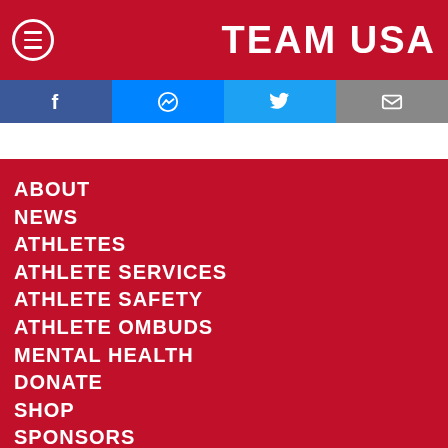TEAM USA
[Figure (screenshot): Social media sharing bar with Facebook, Messenger, Twitter, and Email icons]
ABOUT
NEWS
ATHLETES
ATHLETE SERVICES
ATHLETE SAFETY
ATHLETE OMBUDS
MENTAL HEALTH
DONATE
SHOP
SPONSORS
CONTACT US
CAREERS